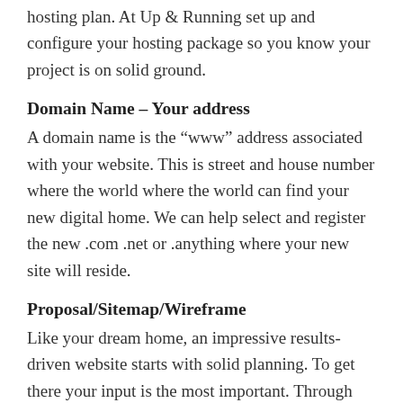hosting plan. At Up & Running set up and configure your hosting package so you know your project is on solid ground.
Domain Name – Your address
A domain name is the “www” address associated with your website. This is street and house number where the world where the world can find your new digital home. We can help select and register the new .com .net or .anything where your new site will reside.
Proposal/Sitemap/Wireframe
Like your dream home, an impressive results-driven website starts with solid planning. To get there your input is the most important. Through the initial proposal process we are able to draft a master blueprint together. Like a